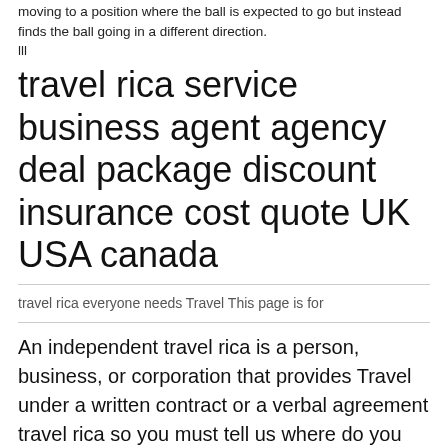moving to a position where the ball is expected to go but instead finds the ball going in a different direction.
lll
travel rica service business agent agency deal package discount insurance cost quote UK USA canada
travel rica everyone needs Travel This page is for
An independent travel rica is a person, business, or corporation that provides Travel under a written contract or a verbal agreement travel rica so you must tell us where do you need it we will do our best to find travel rica for you